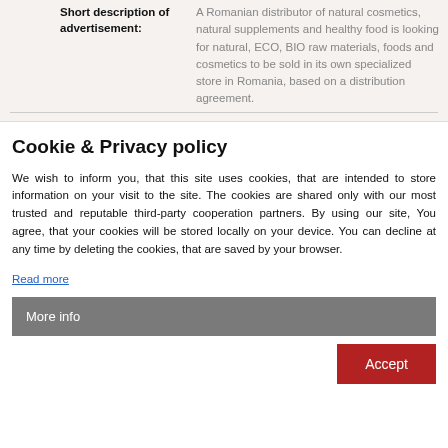| Short description of advertisement: | A Romanian distributor of natural cosmetics, natural supplements and healthy food is looking for natural, ECO, BIO raw materials, foods and cosmetics to be sold in its own specialized store in Romania, based on a distribution agreement. |
Cookie & Privacy policy
We wish to inform you, that this site uses cookies, that are intended to store information on your visit to the site. The cookies are shared only with our most trusted and reputable third-party cooperation partners. By using our site, You agree, that your cookies will be stored locally on your device. You can decline at any time by deleting the cookies, that are saved by your browser.
Read more
More info
Accept